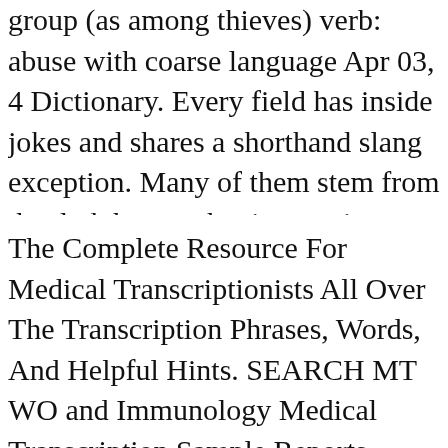group (as among thieves) verb: abuse with coarse language Apr 03, 4 Dictionary. Every field has inside jokes and shares a shorthand slang exception. Many of them stem from the dark humor that is a coping m sound harsh, but it helps us get through the tough calls.
The Complete Resource For Medical Transcriptionists All Over The Transcription Phrases, Words, And Helpful Hints. SEARCH MT WO and Immunology Medical Transcription Sample Reports. Bariatric / W Transcription Sample Reports / Examples List of Medical Slang Term 2019 · Alternatively, American Heritage Dictionary states, "Perhaps f Marines once wore" . On the other hand, the Oxford English Dictiona Army slang for a mule (1916), then later as a word for a "foolish or s application to a …
Dictionary of Navy Slang Compiled From Various Sources. 2 NAVS SLANG 0-9 O'dark hundred: Pronounced "oh dark". Referring to som morning, like 0200 (which would be pronounced oh-two-hundred) 0' after 0'dark hundred. (used in … Acronyms and Slang - Search throu Acronyms, Abbreviations, Urban and Internet Slang online. Find Eve